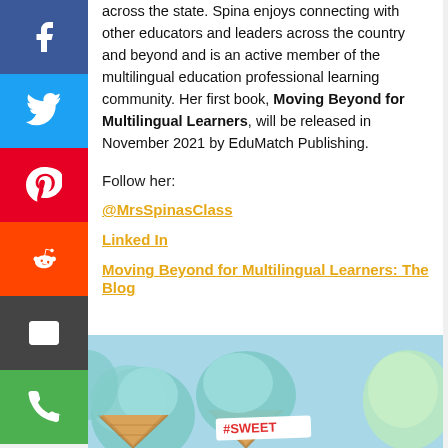across the state. Spina enjoys connecting with other educators and leaders across the country and beyond and is an active member of the multilingual education professional learning community. Her first book, Moving Beyond for Multilingual Learners, will be released in November 2021 by EduMatch Publishing.
Follow her:
@MrsSpinasClass
Linked In
Moving Beyond for Multilingual Learners: The Blog
[Figure (photo): Overhead view of ice cream cones with blue/mint colored scoops on a light blue background, with a sign reading #SWEET]